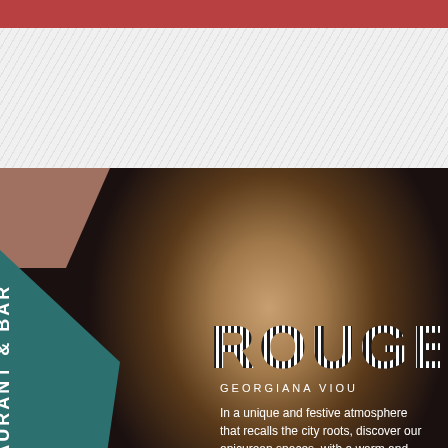[Figure (photo): Restaurant and bar advertisement page. Top red bar, white/light textured section, large photo of smiling woman with braids in white chef coat giving thumbs up, teal and brown geometric shapes on left side overlaying the photo, white vertical text 'RESTAURANT & BAR', bold white 'ROUGE' logo, 'GEORGIANA VIOU' subtitle, descriptive text about unique festive atmosphere.]
ROUGE
RESTAURANT & BAR
GEORGIANA VIOU
In a unique and festive atmosphere that recalls the city roots, discover our epicurean spaces, with a warm and lively